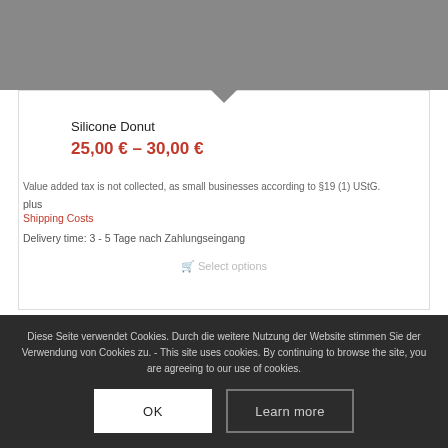[Figure (photo): Gray product image area at top of product card, showing a blurred/darkened product photo]
Silicone Donut
25,00 € – 30,00 €
Value added tax is not collected, as small businesses according to §19 (1) UStG.
plus
Shipping Costs
Delivery time: 3 - 5 Tage nach Zahlungseingang
Select options
Diese Seite verwendet Cookies. Durch die weitere Nutzung der Website stimmen Sie der Verwendung von Cookies zu. - This site uses cookies. By continuing to browse the site, you are agreeing to our use of cookies.
OK
Learn more